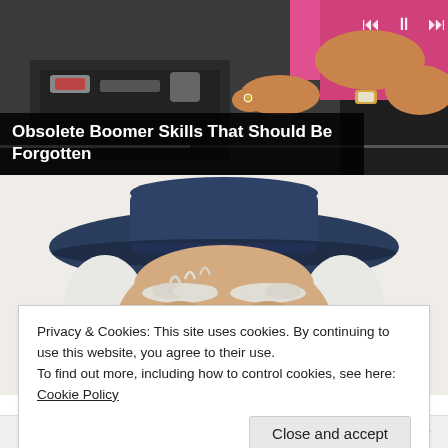[Figure (screenshot): Video player thumbnail showing a person's hands near a bag with pink clothing visible, with playback controls (skip back, pause, skip forward) and a progress bar overlay]
Obsolete Boomer Skills That Should Be Forgotten
[Figure (illustration): Illustrated character of an old man with white hair and bushy eyebrows wearing a dark navy cowboy hat, peeking up from the bottom of the frame]
Privacy & Cookies: This site uses cookies. By continuing to use this website, you agree to their use.
To find out more, including how to control cookies, see here: Cookie Policy
Close and accept
Follow ...